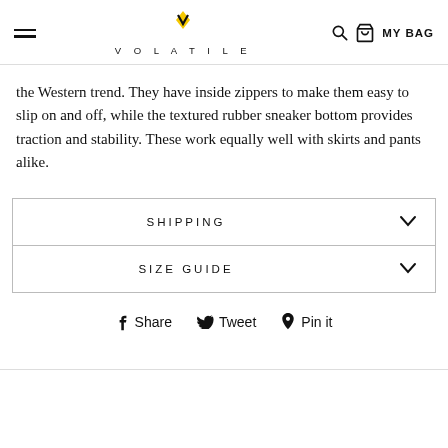VOLATILE
the Western trend. They have inside zippers to make them easy to slip on and off, while the textured rubber sneaker bottom provides traction and stability. These work equally well with skirts and pants alike.
| SHIPPING |  |
| SIZE GUIDE |  |
Share   Tweet   Pin it